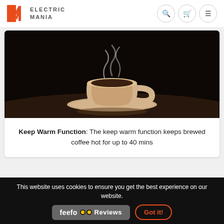ELECTRIC MANIA
[Figure (photo): A steaming hot coffee cup on a saucer against a dark background, sepia-toned dramatic lighting]
Keep Warm Function: The keep warm function keeps brewed coffee hot for up to 40 mins
This website uses cookies to ensure you get the best experience on our website.